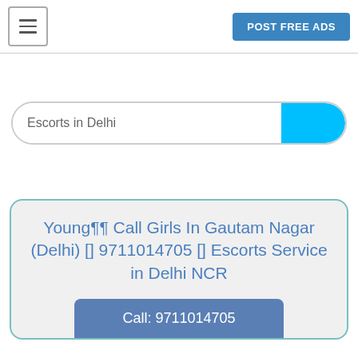POST FREE ADS
Escorts in Delhi
Young¶¶ Call Girls In Gautam Nagar (Delhi) [] 9711014705 [] Escorts Service in Delhi NCR
Call: 9711014705